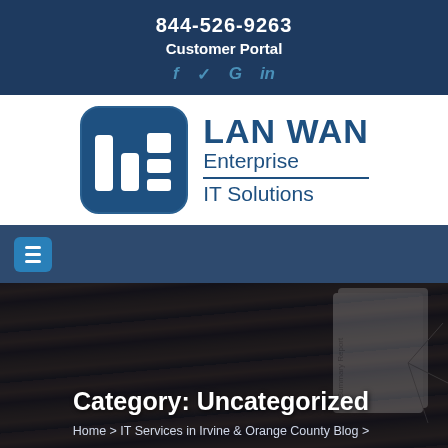844-526-9263
Customer Portal
[Figure (logo): LAN WAN Enterprise IT Solutions logo with stylized bar chart icon in blue rounded square]
[Figure (screenshot): Hamburger menu navigation bar]
Category: Uncategorized
Home > IT Services in Irvine & Orange County Blog >